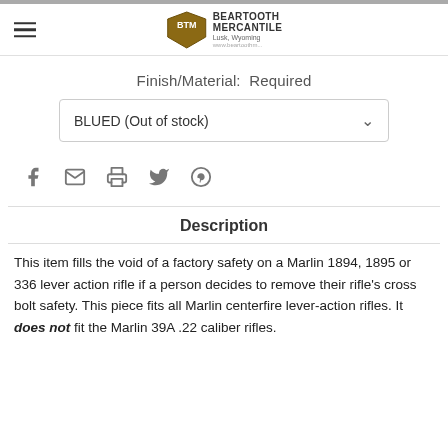[Figure (logo): Beartooth Mercantile shield logo with text 'BEARTOOTH MERCANTILE, Lusk, Wyoming' and website URL]
Finish/Material:  Required
BLUED (Out of stock)
[Figure (infographic): Social share icons: Facebook, Email, Print, Twitter, Pinterest]
Description
This item fills the void of a factory safety on a Marlin 1894, 1895 or 336 lever action rifle if a person decides to remove their rifle's cross bolt safety. This piece fits all Marlin centerfire lever-action rifles. It does not fit the Marlin 39A .22 caliber rifles.